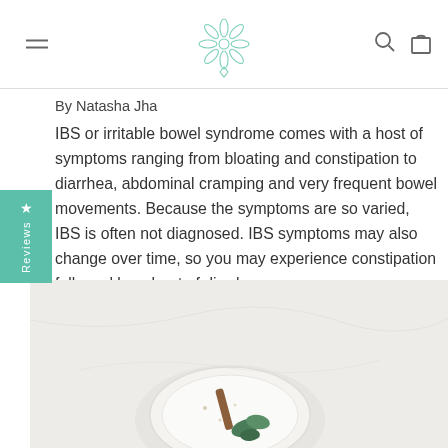[navigation bar with hamburger menu, snowflake logo, search and bag icons]
By Natasha Jha
IBS or irritable bowel syndrome comes with a host of symptoms ranging from bloating and constipation to diarrhea, abdominal cramping and very frequent bowel movements. Because the symptoms are so varied, IBS is often not diagnosed. IBS symptoms may also change over time, so you may experience constipation followed by a bout of diarrhea.
[Figure (photo): A white plate with green leaves (spinach) and a cinnamon stick with some scattered food items on a light marble surface]